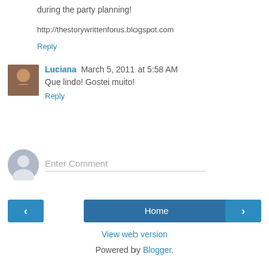during the party planning!
http://thestorywrittenforus.blogspot.com
Reply
Luciana  March 5, 2011 at 5:58 AM
Que lindo! Gostei muito!
Reply
Enter Comment
Home
View web version
Powered by Blogger.